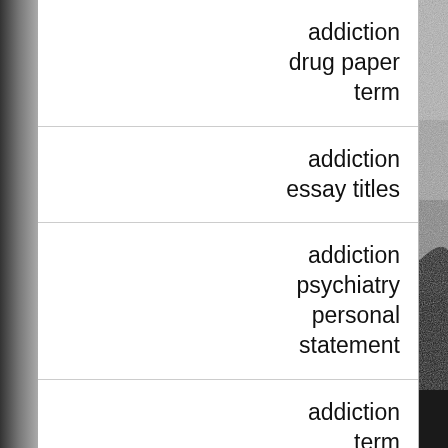[Figure (photo): Black and white photo of a forest/treeline silhouette against a grainy sky, landscape orientation]
addiction drug paper term
addiction essay titles
addiction psychiatry personal statement
addiction term papers
adding an